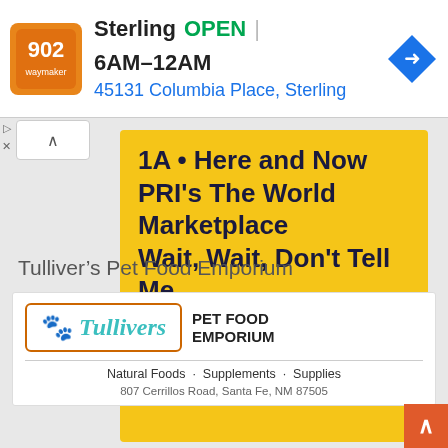[Figure (screenshot): Top ad banner: orange/red square logo, 'Sterling OPEN | 6AM-12AM' and '45131 Columbia Place, Sterling' with blue navigation arrow icon]
[Figure (infographic): Yellow advertisement box listing '1A • Here and Now', 'PRI's The World Marketplace', 'Wait, Wait, Don't Tell Me...' with call to action 'SEE FULL HD2 SCHEDULE AT KANW.COM']
Tulliver's Pet Food Emporium
[Figure (logo): Tullivers Pet Food Emporium logo with teal paw print and italic teal 'Tullivers' text in orange-bordered box, plus 'PET FOOD EMPORIUM' text]
Natural Foods · Supplements · Supplies
807 Cerrillos Road, Santa Fe, NM 87505